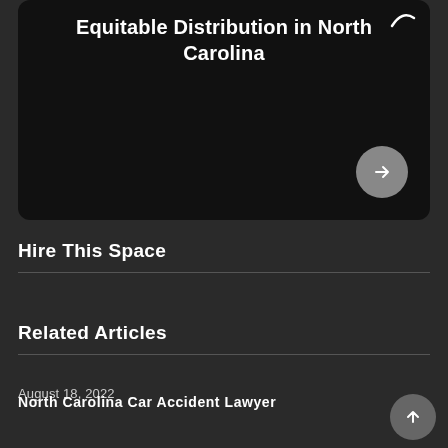[Figure (screenshot): Dark card UI element showing title 'Equitable Distribution in North Carolina' with a right arrow button and arc icon]
Hire This Space
Related Articles
August 18, 2022
North Carolina Car Accident Lawyer